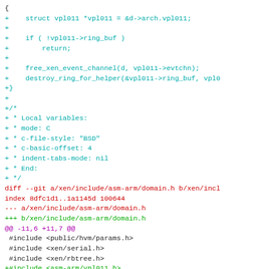diff code snippet showing git patch for vpl011 and domain.h changes